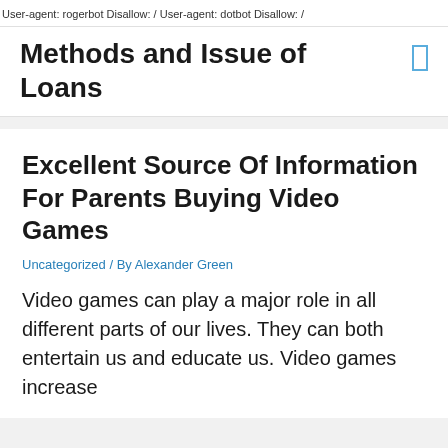User-agent: rogerbot Disallow: / User-agent: dotbot Disallow: /
Methods and Issue of Loans
Excellent Source Of Information For Parents Buying Video Games
Uncategorized / By Alexander Green
Video games can play a major role in all different parts of our lives. They can both entertain us and educate us. Video games increase